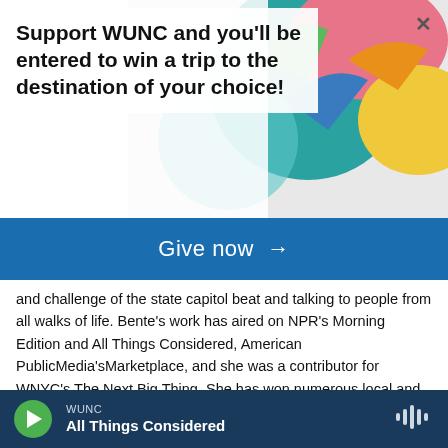[Figure (illustration): Colorful geometric/abstract graphic with circles and shapes in teal, pink, yellow, green, and blue colors in the top-right background area]
Support WUNC and you'll be entered to win a trip to the destination of your choice!
Give now →
and challenge of the state capitol beat and talking to people from all walks of life. Bente's work has aired on NPR's Morning Edition and All Things Considered, American PublicMedia'sMarketplace, and she was a contributor for WNYC's The Next Big Thing. She has won numerous local and national awards, including best beat reporting from the Association of Capitol Reporters and Editors. Bente grew up in Minnesota and England, and loves skiing, hiking, and is an aspiring cello player. She lives in Lakewood with her husband.
See stories by Bente Birkeland
WUNC
All Things Considered